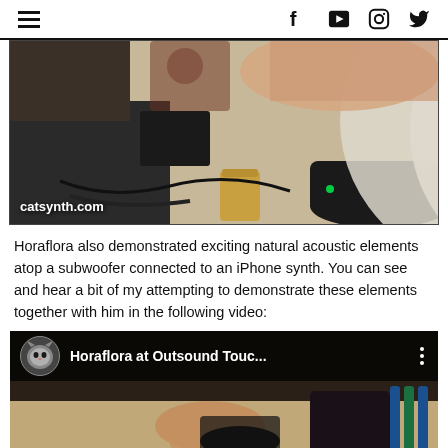Navigation header with hamburger menu and social icons: Facebook, YouTube, Instagram, Twitter
[Figure (photo): Photo of hands demonstrating natural acoustic elements atop a subwoofer on a table with various equipment. Watermark reads 'catsynth.com' in bottom left.]
Horaflora also demonstrated exciting natural acoustic elements atop a subwoofer connected to an iPhone synth. You can see and hear a bit of my attempting to demonstrate these elements together with him in the following video:
[Figure (screenshot): YouTube video thumbnail showing 'Horaflora at Outsound Touc...' with a cat profile picture and hands on instruments in the background.]